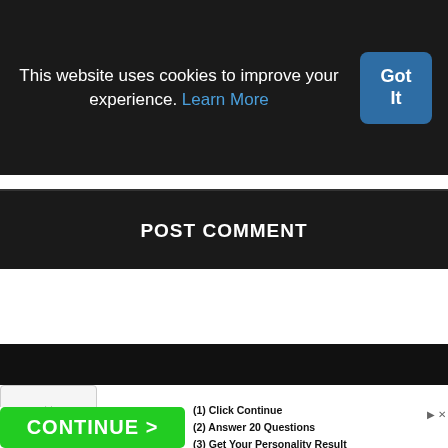This website uses cookies to improve your experience. Learn More
Got It
POST COMMENT
About   Contact Us   Disclaimer   Privacy Policy
© 2021 Bluestacks.software - All Right Reserved.
[Figure (screenshot): Advertisement banner with green CONTINUE > button and text: (1) Click Continue (2) Answer 20 Questions (3) Get Your Personality Result]